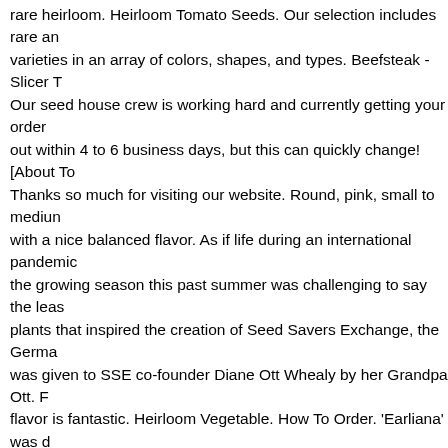rare heirloom. Heirloom Tomato Seeds. Our selection includes rare an varieties in an array of colors, shapes, and types. Beefsteak - Slicer T Our seed house crew is working hard and currently getting your order out within 4 to 6 business days, but this can quickly change! [About To Thanks so much for visiting our website. Round, pink, small to mediun with a nice balanced flavor. As if life during an international pandemic the growing season this past summer was challenging to say the leas plants that inspired the creation of Seed Savers Exchange, the Germa was given to SSE co-founder Diane Ott Whealy by her Grandpa Ott. F flavor is fantastic. Heirloom Vegetable. How To Order. 'Earliana' was d turn-of-the-century as growers attempted to bring the earliest tomato t offered commercially in 1900 by Johnson and Stokes. Thought to be d parent lines of "Radiator Charlie's Mortgage Lifter." Potato-leaf plants oblate, pink fruit. Enjoy old-fashioned flavour fresh from your garden. (18") high plants are loaded with clusters of sweet, scarlet red 2.5 cm fruit. Victory Seed Company. Huge range of varieties in all colours ane Products / Tomatoes / ... Potato-leaf plants produce large 1-2 lb meat seeds, very little cracking or blossom scars. We are an early signer of Pledge. Transplant outside 2 weeks after the last frost date. Originally in the area between the … Pink Smart is a new indeterminate Pink To orders directly support our biodiversity preservation work. This is an o